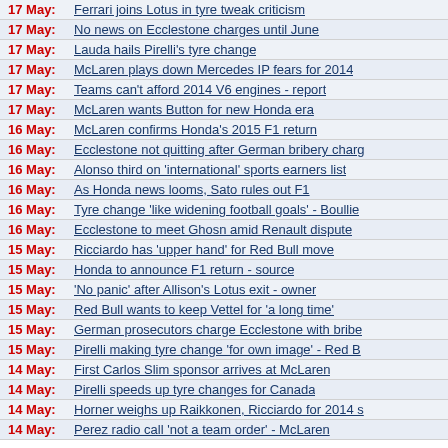17 May: Ferrari joins Lotus in tyre tweak criticism
17 May: No news on Ecclestone charges until June
17 May: Lauda hails Pirelli's tyre change
17 May: McLaren plays down Mercedes IP fears for 2014
17 May: Teams can't afford 2014 V6 engines - report
17 May: McLaren wants Button for new Honda era
16 May: McLaren confirms Honda's 2015 F1 return
16 May: Ecclestone not quitting after German bribery charg
16 May: Alonso third on 'international' sports earners list
16 May: As Honda news looms, Sato rules out F1
16 May: Tyre change 'like widening football goals' - Boullie
16 May: Ecclestone to meet Ghosn amid Renault dispute
15 May: Ricciardo has 'upper hand' for Red Bull move
15 May: Honda to announce F1 return - source
15 May: 'No panic' after Allison's Lotus exit - owner
15 May: Red Bull wants to keep Vettel for 'a long time'
15 May: German prosecutors charge Ecclestone with bribe
15 May: Pirelli making tyre change 'for own image' - Red B
14 May: First Carlos Slim sponsor arrives at McLaren
14 May: Pirelli speeds up tyre changes for Canada
14 May: Horner weighs up Raikkonen, Ricciardo for 2014 s
14 May: Perez radio call 'not a team order' - McLaren